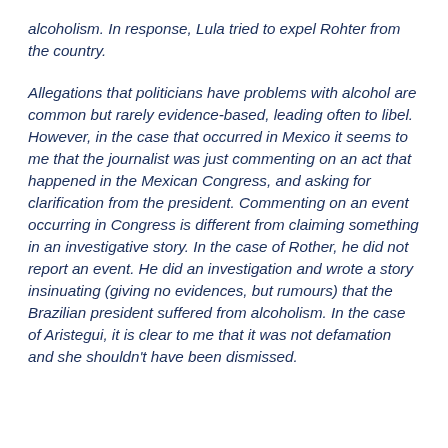alcoholism. In response, Lula tried to expel Rohter from the country.
Allegations that politicians have problems with alcohol are common but rarely evidence-based, leading often to libel. However, in the case that occurred in Mexico it seems to me that the journalist was just commenting on an act that happened in the Mexican Congress, and asking for clarification from the president. Commenting on an event occurring in Congress is different from claiming something in an investigative story. In the case of Rother, he did not report an event. He did an investigation and wrote a story insinuating (giving no evidences, but rumours) that the Brazilian president suffered from alcoholism. In the case of Aristegui, it is clear to me that it was not defamation and she shouldn't have been dismissed.